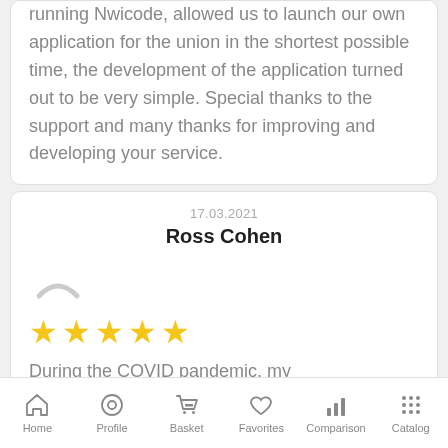running Nwicode, allowed us to launch our own application for the union in the shortest possible time, the development of the application turned out to be very simple. Special thanks to the support and many thanks for improving and developing your service.
17.03.2021
Ross Cohen
[Figure (illustration): User avatar icon - grey curved line suggesting a smile/profile silhouette]
[Figure (infographic): 5 yellow star rating]
During the COVID pandemic, my
Home  Profile  Basket  Favorites  Comparison  Catalog